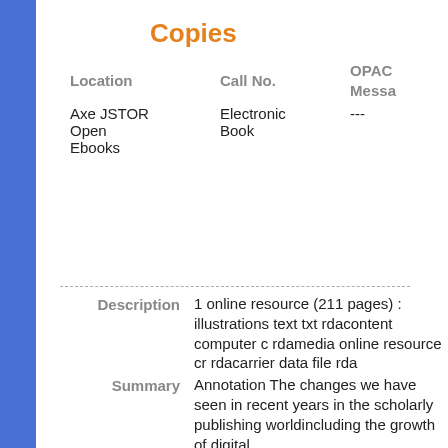Copies
| Location | Call No. | OPAC Message |
| --- | --- | --- |
| Axe JSTOR Open Ebooks | Electronic Book | --- |
Description  1 online resource (211 pages) : illustrations text txt rdacontent computer c rdamedia online resource cr rdacarrier data file rda
Summary  Annotation The changes we have seen in recent years in the scholarly publishing worldincluding the growth of digital